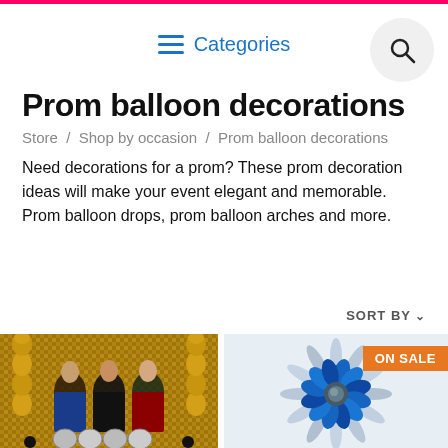Categories
Prom balloon decorations
Store / Shop by occasion / Prom balloon decorations
Need decorations for a prom? These prom decoration ideas will make your event elegant and memorable. Prom balloon drops, prom balloon arches and more.
SORT BY
[Figure (photo): Three young women posing in front of a gold sequin backdrop with golden balloon columns, holding silver letter balloons.]
[Figure (photo): A blue and silver starburst/explosion-shaped foil balloon on a light background, with an ON SALE badge.]